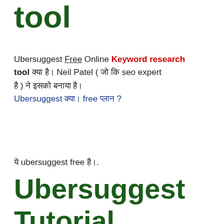tool
Ubersuggest Free Online Keyword research tool क्या है? Neil Patel ( जो कि सिर्फ seo expert है ) ने इसको बनाया है. Ubersuggest क्या free प्लान ?
ये ubersuggest free है.
Ubersuggest Tutorial Jankari
येहां ubersuggest MOBAIL phone